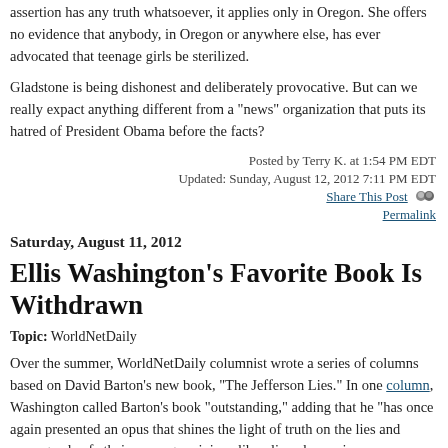assertion has any truth whatsoever, it applies only in Oregon. She offers no evidence that anybody, in Oregon or anywhere else, has ever advocated that teenage girls be sterilized.
Gladstone is being dishonest and deliberately provocative. But can we really expact anything different from a "news" organization that puts its hatred of President Obama before the facts?
Posted by Terry K. at 1:54 PM EDT
Updated: Sunday, August 12, 2012 7:11 PM EDT
Share This Post
Permalink
Saturday, August 11, 2012
Ellis Washington's Favorite Book Is Withdrawn
Topic: WorldNetDaily
Over the summer, WorldNetDaily columnist wrote a series of columns based on David Barton's new book, "The Jefferson Lies." In one column, Washington called Barton's book "outstanding," adding that he "has once again presented an opus that shines the light of truth on the lies and propaganda of atheism, progressivism, liberalism, humanism